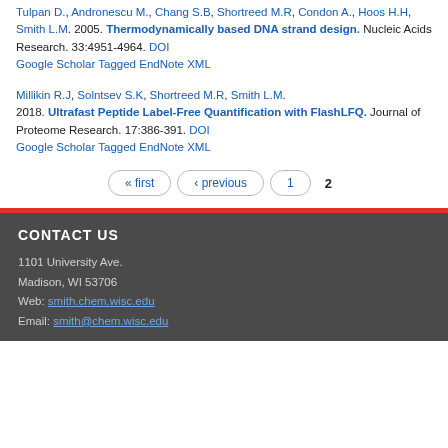Tulpan D., Andronescu M., Chang S.B, Shortreed M.R, Condon A., Hoos H.H, Smith L.M. 2005. Thermodynamically based DNA strand design. Nucleic Acids Research. 33:4951-4964. DOI Google Scholar Tagged EndNote XML
Millikin R.J, Solntsev S.K, Shortreed M.R, Smith L.M. 2018. Ultrafast Peptide Label-Free Quantification with FlashLFQ. Journal of Proteome Research. 17:386-391. DOI Google Scholar Tagged EndNote XML
« first ‹ previous 1 2
CONTACT US
1101 University Ave.
Madison, WI 53706
Web: smith.chem.wisc.edu
Email: smith@chem.wisc.edu